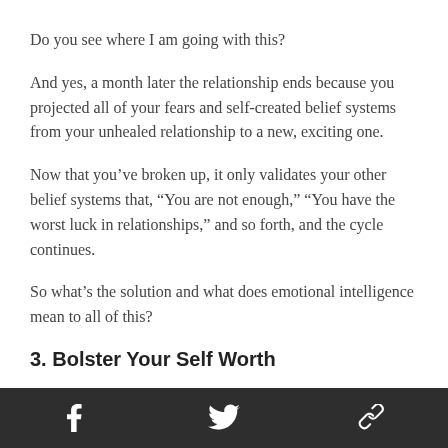Do you see where I am going with this?
And yes, a month later the relationship ends because you projected all of your fears and self-created belief systems from your unhealed relationship to a new, exciting one.
Now that you’ve broken up, it only validates your other belief systems that, “You are not enough,” “You have the worst luck in relationships,” and so forth, and the cycle continues.
So what’s the solution and what does emotional intelligence mean to all of this?
3. Bolster Your Self Worth
Social share icons: Facebook, Twitter, Link